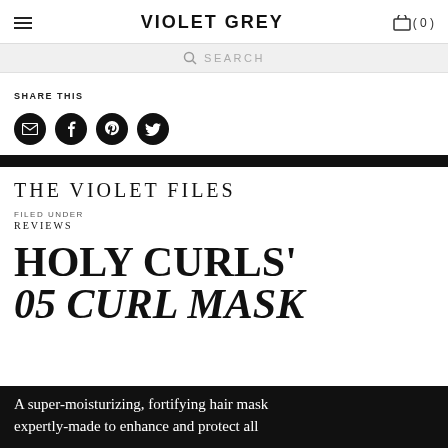VIOLET GREY
SEARCH
SHARE THIS
[Figure (other): Social sharing icons: email, Facebook, Pinterest, Twitter (black circles)]
THE VIOLET FILES
FILED UNDER
REVIEWS
HOLY CURLS' 05 CURL MASK
A super-moisturizing, fortifying hair mask expertly-made to enhance and protect all